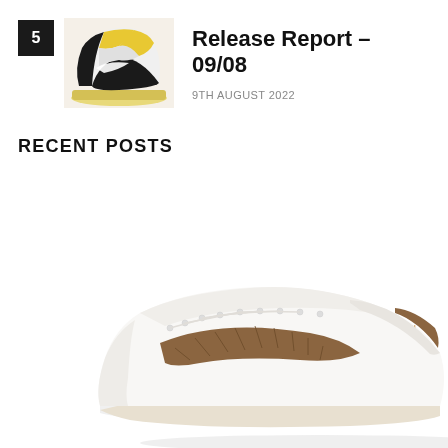5
[Figure (photo): Nike Air Jordan 1 High sneaker in yellow, black and white colorway, thumbnail image]
Release Report – 09/08
9TH AUGUST 2022
RECENT POSTS
[Figure (photo): White and brown Nike sneaker (low-top) photographed from the side/above angle, cropped, showing the toe box and swoosh area in brown snakeskin-like texture]